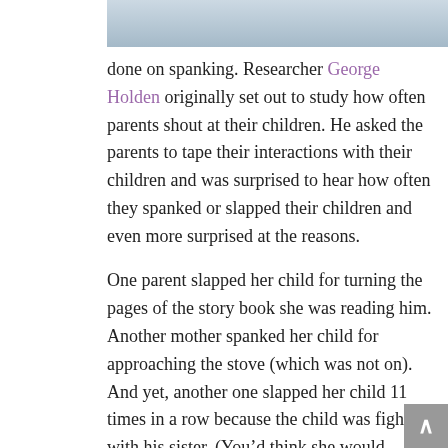[Figure (photo): Partial photo of a child or person, cropped at top of page]
study to be done on spanking. Researcher George Holden originally set out to study how often parents shout at their children. He asked the parents to tape their interactions with their children and was surprised to hear how often they spanked or slapped their children and even more surprised at the reasons.
One parent slapped her child for turning the pages of the story book she was reading him. Another mother spanked her child for approaching the stove (which was not on). And yet, another one slapped her child 11 times in a row because the child was fighting with his sister. (You’d think she would realize it’s not really working!)
The study spanned people from different backgrounds and races, so as not to be bias in one way or another. The parents were told that it was about their